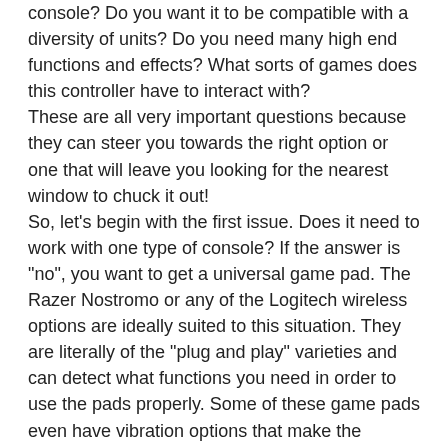console? Do you want it to be compatible with a diversity of units? Do you need many high end functions and effects? What sorts of games does this controller have to interact with?
These are all very important questions because they can steer you towards the right option or one that will leave you looking for the nearest window to chuck it out!
So, let's begin with the first issue. Does it need to work with one type of console? If the answer is "no", you want to get a universal game pad. The Razer Nostromo or any of the Logitech wireless options are ideally suited to this situation. They are literally of the "plug and play" varieties and can detect what functions you need in order to use the pads properly. Some of these game pads even have vibration options that make the experience even more realistic.
The next thing to consider is whether or not the game pad needs to have a lot of functionality? For instance, the Xbox Common Controller works well with all of the units, but it may not have the many different functions required for the full gaming experience.
The Razer Onza Tournament device, however, is loaded to the hilt with features and functions.
Remember that many modern game consoles have sensors that allow the player to utilize special game pads that keep track of movement. For example, the player with the Nintendo